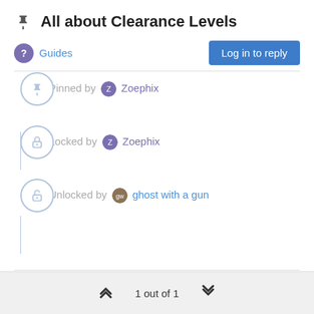📌 All about Clearance Levels
Guides
Pinned by Zoephix
Locked by Zoephix
Unlocked by ghost with a gun
1 out of 1